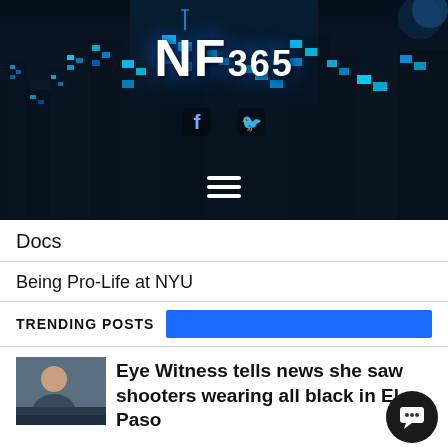[Figure (illustration): NF365 news website header with dark city skyline at night background, neon blue lighting on buildings, white NF365 logo at top center, social media icons (Facebook, Twitter), hamburger menu icon at bottom center]
Docs
Being Pro-Life at NYU
TRENDING POSTS
[Figure (photo): Thumbnail image of a woman, appears to be an interview screenshot]
Eye Witness tells news she saw shooters wearing all black in El Paso